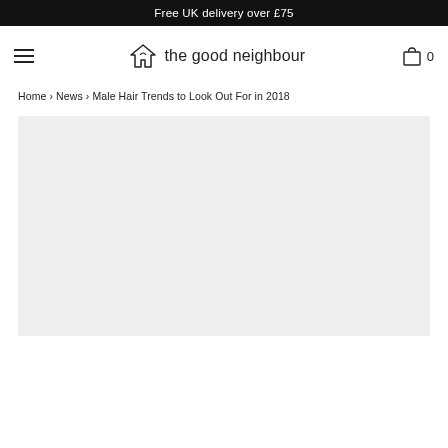Free UK delivery over £75
[Figure (logo): The Good Neighbour logo with house icon and text 'the good neighbour', hamburger menu on left, shopping bag icon with '0' on right]
Home › News › Male Hair Trends to Look Out For in 2018
[Figure (photo): Gray placeholder/loading image area for article hero image]